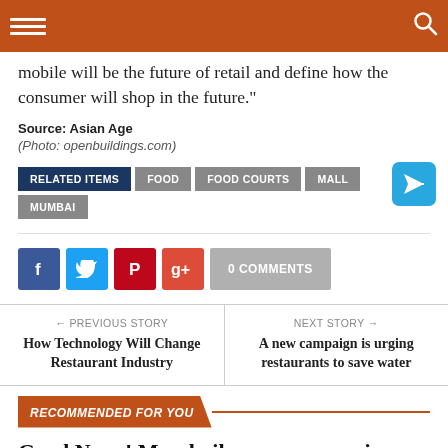mobile will be the future of retail and define how the consumer will shop in the future."
Source: Asian Age
(Photo: openbuildings.com)
RELATED ITEMS  FOOD  FOOD COURTS  MALL  MUMBAI
[Figure (other): Social share buttons: Facebook, Twitter, Pinterest, Google+, 0 COMMENTS]
← PREVIOUS STORY
How Technology Will Change Restaurant Industry
NEXT STORY →
A new campaign is urging restaurants to save water
RECOMMENDED FOR YOU
Good News! Mumbaikars can now wine and